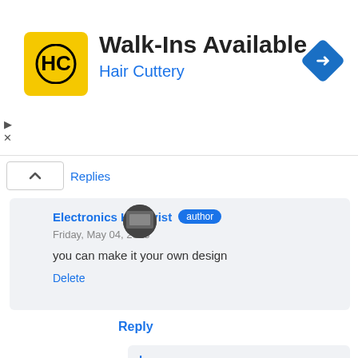[Figure (screenshot): Ad banner for Hair Cuttery with logo, Walk-Ins Available text, and navigation icon]
Replies
Electronics Hobbyist [author]
Friday, May 04, 2018
you can make it your own design
Delete
Reply
happy
Tuesday, May 01, 2018
Please tell about 12 volt supply, 12 volt negative line